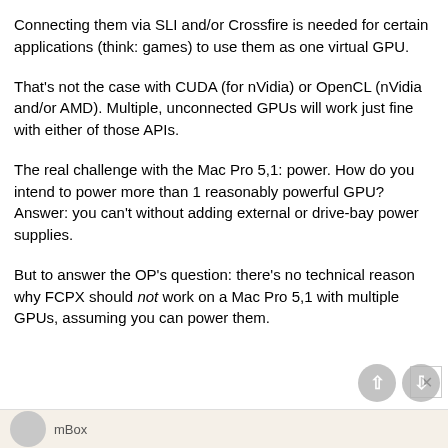Connecting them via SLI and/or Crossfire is needed for certain applications (think: games) to use them as one virtual GPU.
That's not the case with CUDA (for nVidia) or OpenCL (nVidia and/or AMD). Multiple, unconnected GPUs will work just fine with either of those APIs.
The real challenge with the Mac Pro 5,1: power. How do you intend to power more than 1 reasonably powerful GPU? Answer: you can't without adding external or drive-bay power supplies.
But to answer the OP's question: there's no technical reason why FCPX should not work on a Mac Pro 5,1 with multiple GPUs, assuming you can power them.
mBox